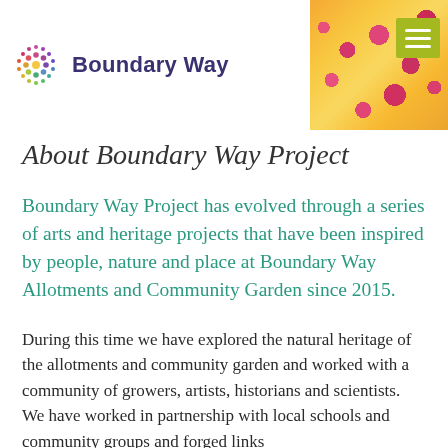Boundary Way
About Boundary Way Project
Boundary Way Project has evolved through a series of arts and heritage projects that have been inspired by people, nature and place at Boundary Way Allotments and Community Garden since 2015.
During this time we have explored the natural heritage of the allotments and community garden and worked with a community of growers, artists, historians and scientists. We have worked in partnership with local schools and community groups and forged links